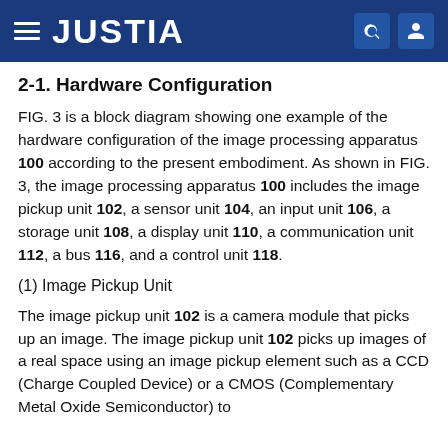JUSTIA
2-1. Hardware Configuration
FIG. 3 is a block diagram showing one example of the hardware configuration of the image processing apparatus 100 according to the present embodiment. As shown in FIG. 3, the image processing apparatus 100 includes the image pickup unit 102, a sensor unit 104, an input unit 106, a storage unit 108, a display unit 110, a communication unit 112, a bus 116, and a control unit 118.
(1) Image Pickup Unit
The image pickup unit 102 is a camera module that picks up an image. The image pickup unit 102 picks up images of a real space using an image pickup element such as a CCD (Charge Coupled Device) or a CMOS (Complementary Metal Oxide Semiconductor) to